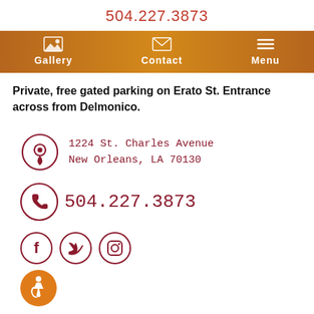504.227.3873
[Figure (screenshot): Navigation bar with Gallery, Contact, and Menu icons on brown/orange background]
Private, free gated parking on Erato St. Entrance across from Delmonico.
[Figure (infographic): Address with location pin icon: 1224 St. Charles Avenue, New Orleans, LA 70130]
[Figure (infographic): Phone icon with number 504.227.3873]
[Figure (infographic): Social media icons: Facebook, Twitter, Instagram circles, and wheelchair accessibility icon]